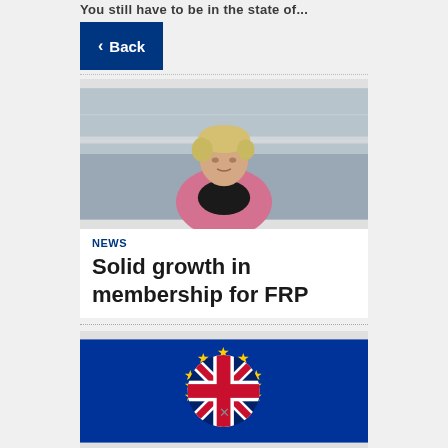You still have to be in the state of...
Back
[Figure (photo): Woman with short blonde hair wearing a pink blazer, photographed outdoors against a stone building background]
NEWS
Solid growth in membership for FRP
[Figure (photo): EU flag with yellow stars on blue background, overlapping with UK Union Jack flag — Brexit imagery]